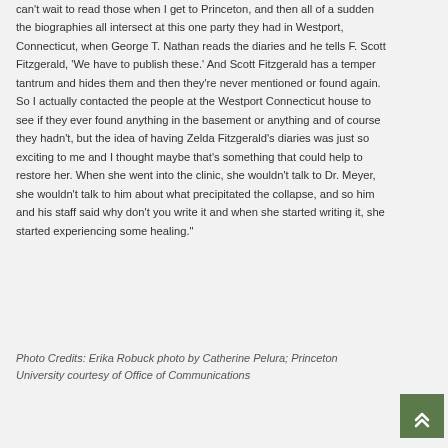can't wait to read those when I get to Princeton, and then all of a sudden the biographies all intersect at this one party they had in Westport, Connecticut, when George T. Nathan reads the diaries and he tells F. Scott Fitzgerald, 'We have to publish these.' And Scott Fitzgerald has a temper tantrum and hides them and then they're never mentioned or found again. So I actually contacted the people at the Westport Connecticut house to see if they ever found anything in the basement or anything and of course they hadn't, but the idea of having Zelda Fitzgerald's diaries was just so exciting to me and I thought maybe that's something that could help to restore her. When she went into the clinic, she wouldn't talk to Dr. Meyer, she wouldn't talk to him about what precipitated the collapse, and so him and his staff said why don't you write it and when she started writing it, she started experiencing some healing."
Photo Credits: Erika Robuck photo by Catherine Pelura; Princeton University courtesy of Office of Communications